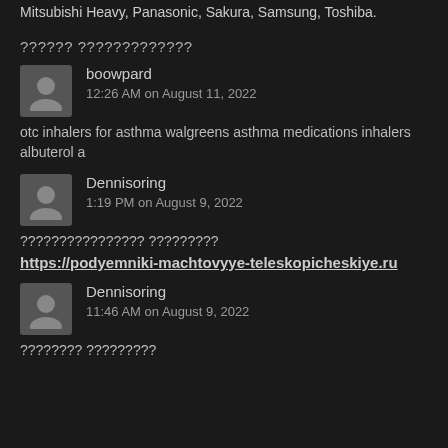Mitsubishi Heavy, Panasonic, Sakura, Samsung, Toshiba.
?????? ?????????????
boowpard
12:26 AM on August 11, 2022
otc inhalers for asthma walgreens asthma medications inhalers albuterol a
Dennisoring
1:19 PM on August 9, 2022
???????????????? ?????????
https://podyemniki-machtovyye-teleskopicheskiye.ru
Dennisoring
11:46 AM on August 9, 2022
???????? ?????????